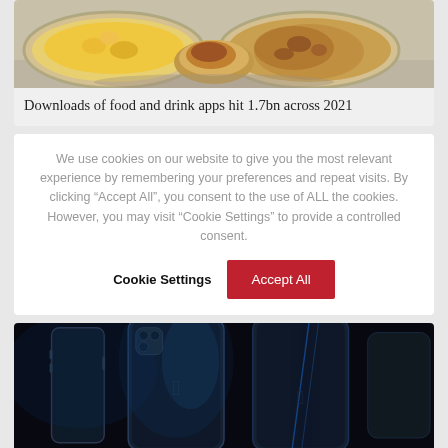[Figure (photo): Food photo showing takeaway trays with mac and cheese and baked potato]
Downloads of food and drink apps hit 1.7bn across 2021
We use cookies on our website to give you the most relevant experience by remembering your preferences and repeat visits. By clicking “Accept All”, you consent to the use of ALL the cookies. However, you may visit “Cookie Settings” to provide a controlled consent.
Cookie Settings
Accept All
[Figure (photo): Dark background photo of iPhone devices showing blue tones]